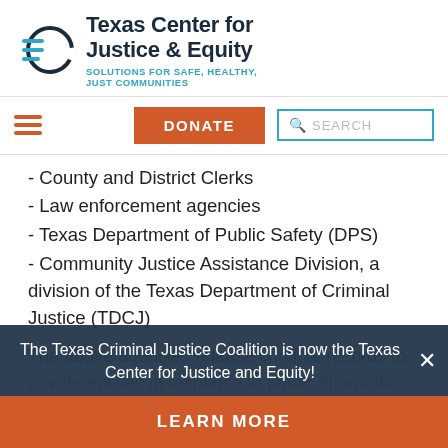[Figure (logo): Texas Center for Justice & Equity logo with circular icon and horizontal lines]
Texas Center for Justice & Equity
SOLUTIONS FOR SAFE, HEALTHY, JUST COMMUNITIES
- County and District Clerks
- Law enforcement agencies
- Texas Department of Public Safety (DPS)
- Community Justice Assistance Division, a division of the Texas Department of Criminal Justice (TDCJ)
The above agencies release criminal records to private entities in response to public information requests, but DPS is the only agency that provides
The Texas Criminal Justice Coalition is now the Texas Center for Justice and Equity!